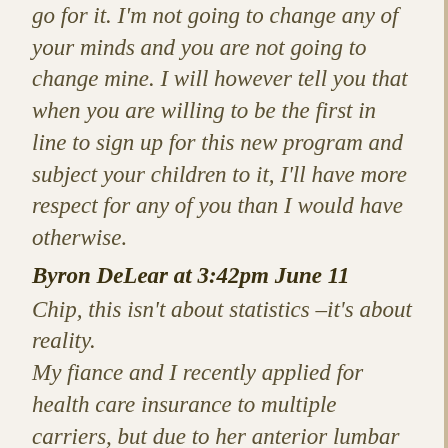go for it. I'm not going to change any of your minds and you are not going to change mine. I will however tell you that when you are willing to be the first in line to sign up for this new program and subject your children to it, I'll have more respect for any of you than I would have otherwise.
Byron DeLear at 3:42pm June 11
Chip, this isn't about statistics –it's about reality.
My fiance and I recently applied for health care insurance to multiple carriers, but due to her anterior lumbar fusion operation she had in '07, we were denied.
Those are facts you can't ignore– not some abstract economic...